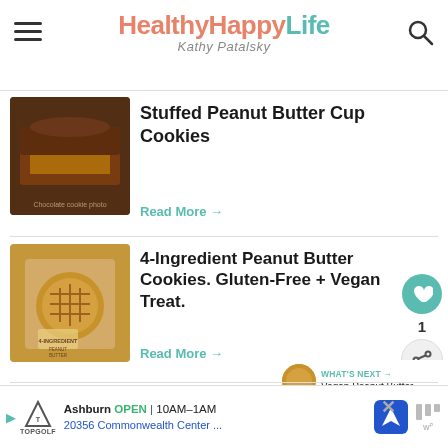HealthyHappyLife — Kathy Patalsky
Stuffed Peanut Butter Cup Cookies
Read More →
4-Ingredient Peanut Butter Cookies. Gluten-Free + Vegan Treat.
Read More →
WHAT'S NEXT → Vegan Peanut Butter...
3-Ingredient Vegan Peanut
Ashburn OPEN | 10AM–1AM  20356 Commonwealth Center ...